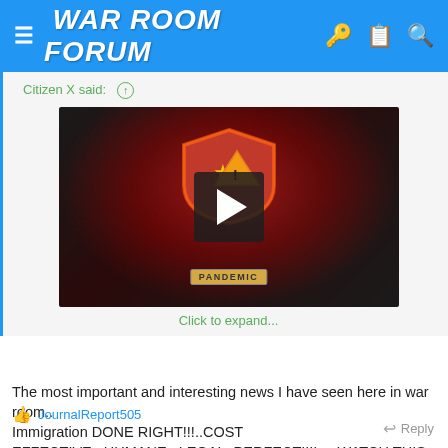WAR ROOM FORUM
Citizen X said:
[Figure (screenshot): Video thumbnail showing a red shield with Chinese flag star and a warning/pandemic label, with a play button in the center, dark background with red glow effects and 'PANDEMIC' label at bottom]
Click to expand...
The most important and interesting news I have seen here in war room..
Immigration DONE RIGHT!!!..COST EFFECTIVE...HUMANE...LEGAL..PERFECT!!!!.....WATCH THIS AGAIN...AND AGAIN...AND AGAIN....THANK YOU KEN!!!
👍 JournalReport505
Reply